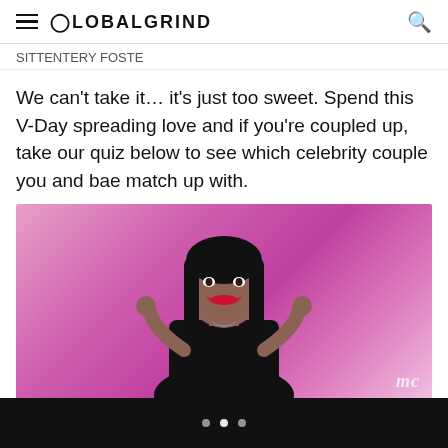GLOBALGRIND
SITTENTERY FOOTE
We can't take it… it's just too sweet. Spend this V-Day spreading love and if you're coupled up, take our quiz below to see which celebrity couple you and bae match up with.
[Figure (photo): A young woman with long straight black hair, wearing a black turtleneck top, smiling at the camera with a pink/magenta gradient background. A watermark 'mc' appears at the lower right.]